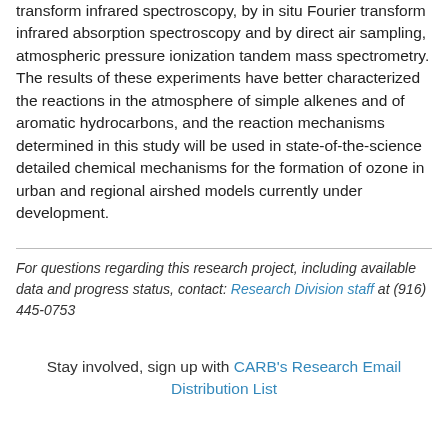transform infrared spectroscopy, by in situ Fourier transform infrared absorption spectroscopy and by direct air sampling, atmospheric pressure ionization tandem mass spectrometry. The results of these experiments have better characterized the reactions in the atmosphere of simple alkenes and of aromatic hydrocarbons, and the reaction mechanisms determined in this study will be used in state-of-the-science detailed chemical mechanisms for the formation of ozone in urban and regional airshed models currently under development.
For questions regarding this research project, including available data and progress status, contact: Research Division staff at (916) 445-0753
Stay involved, sign up with CARB's Research Email Distribution List